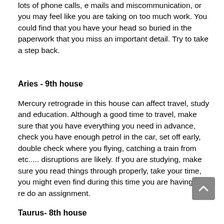lots of phone calls, e mails and miscommunication, or you may feel like you are taking on too much work. You could find that you have your head so buried in the paperwork that you miss an important detail. Try to take a step back.
Aries - 9th house
Mercury retrograde in this house can affect travel, study and education. Although a good time to travel, make sure that you have everything you need in advance, check you have enough petrol in the car, set off early, double check where you flying, catching a train from etc..... disruptions are likely. If you are studying, make sure you read things through properly, take your time, you might even find during this time you are having to re do an assignment.
Taurus- 8th house